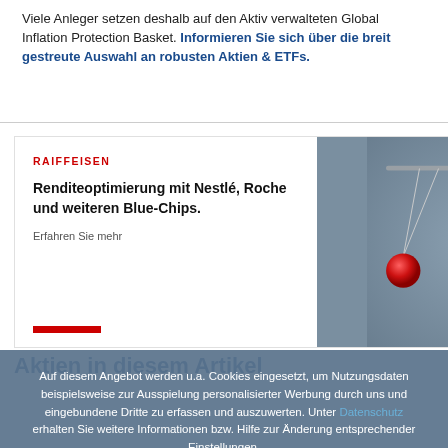Viele Anleger setzen deshalb auf den Aktiv verwalteten Global Inflation Protection Basket. Informieren Sie sich über die breit gestreute Auswahl an robusten Aktien & ETFs.
[Figure (illustration): Raiffeisen advertisement card with Newton's cradle image. Header: RAIFFEISEN. Title: Renditeoptimierung mit Nestlé, Roche und weiteren Blue-Chips. Link: Erfahren Sie mehr. Red accent bar at bottom.]
Aktien in diesem Artikel
Auf diesem Angebot werden u.a. Cookies eingesetzt, um Nutzungsdaten beispielsweise zur Ausspielung personalisierter Werbung durch uns und eingebundene Dritte zu erfassen und auszuwerten. Unter Datenschutz erhalten Sie weitere Informationen bzw. Hilfe zur Änderung entsprechender Einstellungen.